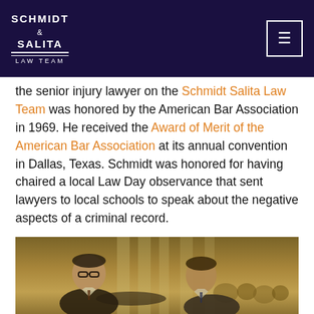Schmidt & Salita Law Team
the senior injury lawyer on the Schmidt Salita Law Team was honored by the American Bar Association in 1969.  He received the Award of Merit of the American Bar Association at its annual convention in Dallas, Texas.  Schmidt was honored for having chaired a local Law Day observance that sent lawyers to local schools to speak about the negative aspects of a criminal record.
[Figure (photo): Vintage sepia-toned photograph of two men in suits shaking hands or greeting each other at what appears to be a formal event or convention, with other people visible in the background.]